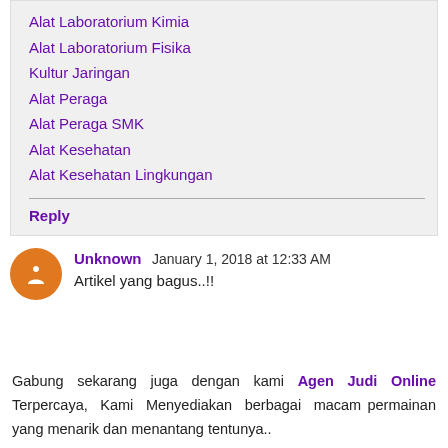Alat Laboratorium Kimia
Alat Laboratorium Fisika
Kultur Jaringan
Alat Peraga
Alat Peraga SMK
Alat Kesehatan
Alat Kesehatan Lingkungan
Reply
Unknown January 1, 2018 at 12:33 AM
Artikel yang bagus..!!
Gabung sekarang juga dengan kami Agen Judi Online Terpercaya, Kami Menyediakan berbagai macam permainan yang menarik dan menantang tentunya..